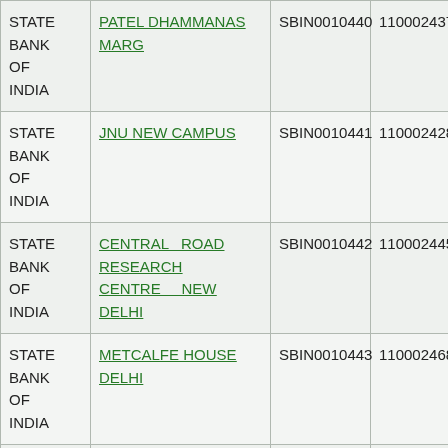| STATE BANK OF INDIA | PATEL DHAMMANAS MARG | SBIN0010440 | 110002437 |
| STATE BANK OF INDIA | JNU NEW CAMPUS | SBIN0010441 | 110002428 |
| STATE BANK OF INDIA | CENTRAL ROAD RESEARCH CENTRE NEW DELHI | SBIN0010442 | 110002445 |
| STATE BANK OF INDIA | METCALFE HOUSE DELHI | SBIN0010443 | 110002468 |
|  |  |  |  |